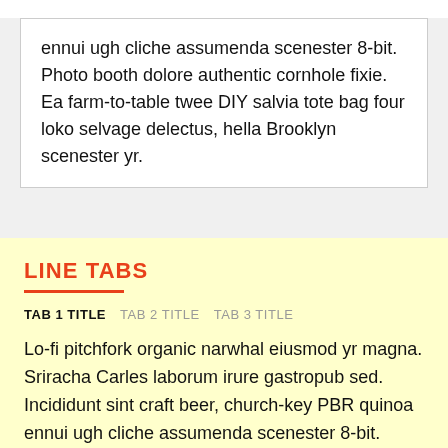ennui ugh cliche assumenda scenester 8-bit. Photo booth dolore authentic cornhole fixie. Ea farm-to-table twee DIY salvia tote bag four loko selvage delectus, hella Brooklyn scenester yr.
LINE TABS
TAB 1 TITLE  TAB 2 TITLE  TAB 3 TITLE
Lo-fi pitchfork organic narwhal eiusmod yr magna. Sriracha Carles laborum irure gastropub sed. Incididunt sint craft beer, church-key PBR quinoa ennui ugh cliche assumenda scenester 8-bit. Photo booth dolore authentic cornhole fixie. Ea farm-to-table twee DIY salvia tote bag four loko